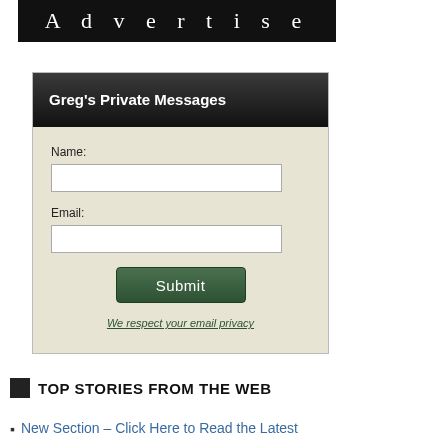[Figure (other): Black banner with 'Advertise' text in white spaced letters]
[Figure (screenshot): Greg's Private Messages form widget with dark header, name field, email field, submit button, and privacy link on beige background]
TOP STORIES FROM THE WEB
New Section – Click Here to Read the Latest